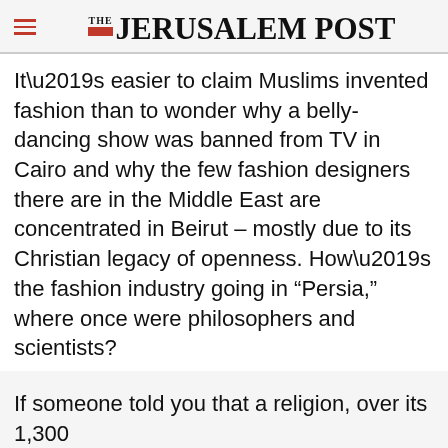THE JERUSALEM POST
It’s easier to claim Muslims invented fashion than to wonder why a belly-dancing show was banned from TV in Cairo and why the few fashion designers there are in the Middle East are concentrated in Beirut – mostly due to its Christian legacy of openness. How’s the fashion industry going in “Persia,” where once were philosophers and scientists?
If someone told you that a religion, over its 1,300
Advertisement